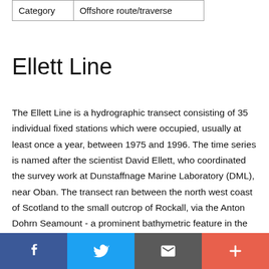| Category | Offshore route/traverse |
Ellett Line
The Ellett Line is a hydrographic transect consisting of 35 individual fixed stations which were occupied, usually at least once a year, between 1975 and 1996. The time series is named after the scientist David Ellett, who coordinated the survey work at Dunstaffnage Marine Laboratory (DML), near Oban. The transect ran between the north west coast of Scotland to the small outcrop of Rockall, via the Anton Dohrn Seamount - a prominent bathymetric feature in the Rockall Trough (see map). STD/CTD dips and associated water
Social share bar: Facebook, Twitter, Email, More